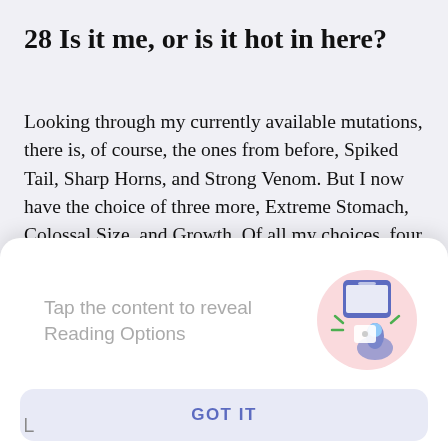28 Is it me, or is it hot in here?
Looking through my currently available mutations, there is, of course, the ones from before, Spiked Tail, Sharp Horns, and Strong Venom. But I now have the choice of three more, Extreme Stomach, Colossal Size, and Growth. Of all my choices, four of them tread the path towards the Ouroboros, from what I
[Figure (screenshot): A modal overlay popup with light background and rounded top corners. Contains text 'Tap the content to reveal Reading Options' in grey, an illustration of a hand tapping a phone screen on the right, and a 'GOT IT' button at the bottom in blue on a light purple background.]